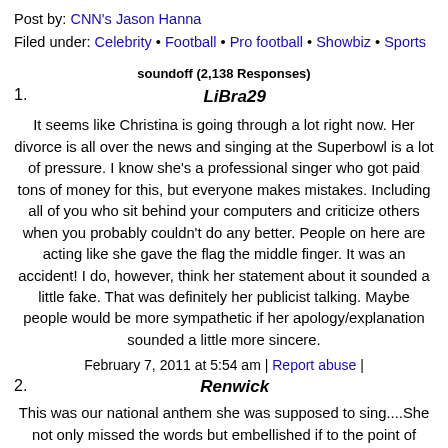Post by: CNN's Jason Hanna
Filed under: Celebrity • Football • Pro football • Showbiz • Sports
soundoff (2,138 Responses)
1. LiBra29
It seems like Christina is going through a lot right now. Her divorce is all over the news and singing at the Superbowl is a lot of pressure. I know she's a professional singer who got paid tons of money for this, but everyone makes mistakes. Including all of you who sit behind your computers and criticize others when you probably couldn't do any better. People on here are acting like she gave the flag the middle finger. It was an accident! I do, however, think her statement about it sounded a little fake. That was definitely her publicist talking. Maybe people would be more sympathetic if her apology/explanation sounded a little more sincere.
February 7, 2011 at 5:54 am | Report abuse |
2. Renwick
This was our national anthem she was supposed to sing....She not only missed the words but embellished if to the point of looking the fool. She missed words, missed